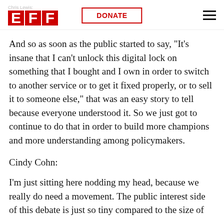Chris Lewis: EFF  DONATE
And so as soon as the public started to say, "It's insane that I can't unlock this digital lock on something that I bought and I own in order to switch to another service or to get it fixed properly, or to sell it to someone else," that was an easy story to tell because everyone understood it. So we just got to continue to do that in order to build more champions and more understanding among policymakers.
Cindy Cohn:
I'm just sitting here nodding my head, because we really do need a movement. The public interest side of this debate is just so tiny compared to the size of